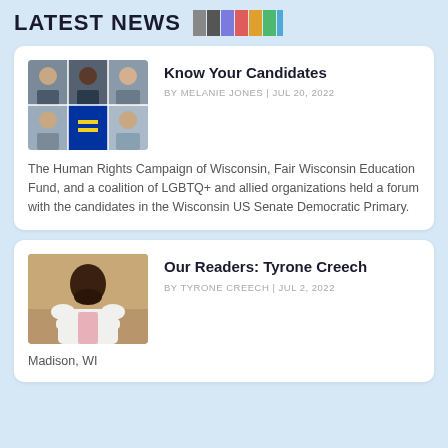LATEST NEWS
[Figure (illustration): Color bar graphic (SMPTE-style color bars) next to the LATEST NEWS title]
Know Your Candidates
BY MELANIE JONES | JUL 20, 2022
The Human Rights Campaign of Wisconsin, Fair Wisconsin Education Fund, and a coalition of LGBTQ+ and allied organizations held a forum with the candidates in the Wisconsin US Senate Democratic Primary.
Our Readers: Tyrone Creech
BY TYRONE CREECH | JUL 2, 2022
Madison, WI